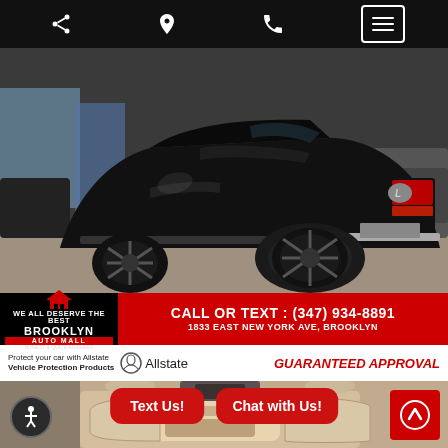[Figure (screenshot): Mobile website top navigation bar with share icon, location pin icon, phone icon, and hamburger menu button on black background]
[Figure (photo): Black Lexus LX SUV rear three-quarter view in a dealership lot with other vehicles in background]
[Figure (infographic): Red dealership banner with Brooklyn Auto Hall logo on black background left side, and white text reading CALL OR TEXT: (347) 934-8891 and 1833 EAST NEW YORK AVE, BROOKLYN]
[Figure (infographic): White banner advertising Allstate Vehicle Protection Products with Allstate logo and red italic GUARANTEED APPROVAL text]
[Figure (photo): Interior of luxury SUV showing beige/cream leather seats]
Text Us!
Chat with Us!